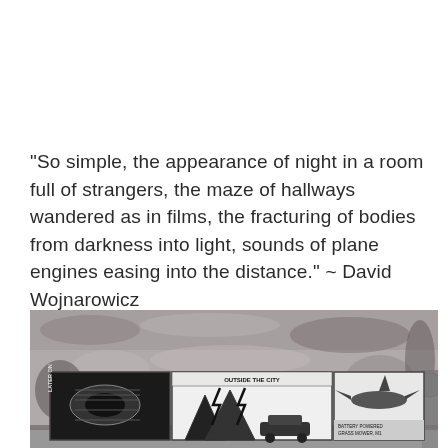“So simple, the appearance of night in a room full of strangers, the maze of hallways wandered as in films, the fracturing of bodies from darkness into light, sounds of plane engines easing into the distance.” ~ David Wojnarowicz
[Figure (photo): Black and white photograph of a weathered concrete or plaster wall with peeling paint, with comic-strip or storyboard panels affixed to it. The panels appear to show graphic novel-style illustrations including what looks like a car, lightning bolts, and an airplane. Text in panels reads 'LATER ON', 'OUTSIDE THE CITY', and partially visible text.]